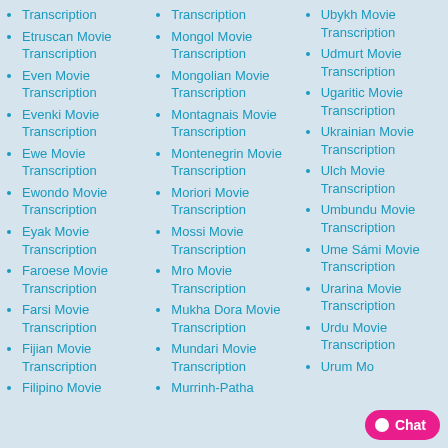Transcription
Etruscan Movie Transcription
Even Movie Transcription
Evenki Movie Transcription
Ewe Movie Transcription
Ewondo Movie Transcription
Eyak Movie Transcription
Faroese Movie Transcription
Farsi Movie Transcription
Fijian Movie Transcription
Filipino Movie
Transcription
Mongol Movie Transcription
Mongolian Movie Transcription
Montagnais Movie Transcription
Montenegrin Movie Transcription
Moriori Movie Transcription
Mossi Movie Transcription
Mro Movie Transcription
Mukha Dora Movie Transcription
Mundari Movie Transcription
Murrinh-Patha
Ubykh Movie Transcription
Udmurt Movie Transcription
Ugaritic Movie Transcription
Ukrainian Movie Transcription
Ulch Movie Transcription
Umbundu Movie Transcription
Ume Sámi Movie Transcription
Urarina Movie Transcription
Urdu Movie Transcription
Urum Mo...